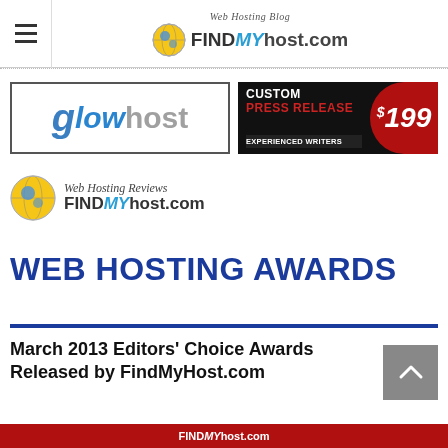Web Hosting Blog FindMyhost.com
[Figure (logo): Glowhost logo in bordered rectangle]
[Figure (logo): Custom Press Release $199 Experienced Writers ad banner]
[Figure (logo): Web Hosting Reviews FindMyhost.com logo]
WEB HOSTING AWARDS
March 2013 Editors' Choice Awards Released by FindMyHost.com
FindMyhost.com